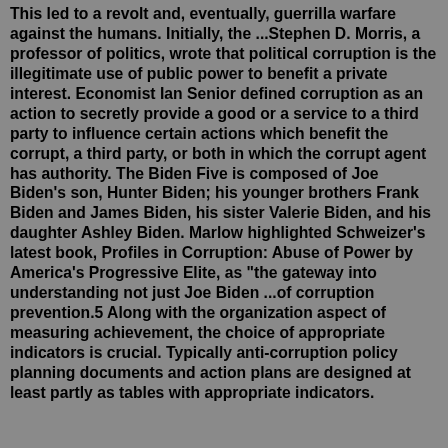This led to a revolt and, eventually, guerrilla warfare against the humans. Initially, the ...Stephen D. Morris, a professor of politics, wrote that political corruption is the illegitimate use of public power to benefit a private interest. Economist Ian Senior defined corruption as an action to secretly provide a good or a service to a third party to influence certain actions which benefit the corrupt, a third party, or both in which the corrupt agent has authority. The Biden Five is composed of Joe Biden's son, Hunter Biden; his younger brothers Frank Biden and James Biden, his sister Valerie Biden, and his daughter Ashley Biden. Marlow highlighted Schweizer's latest book, Profiles in Corruption: Abuse of Power by America's Progressive Elite, as "the gateway into understanding not just Joe Biden ...of corruption prevention.5 Along with the organization aspect of measuring achievement, the choice of appropriate indicators is crucial. Typically anti-corruption policy planning documents and action plans are designed at least partly as tables with appropriate indicators.